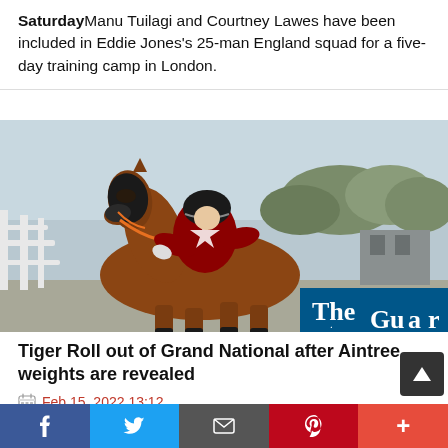SaturdayManu Tuilagi and Courtney Lawes have been included in Eddie Jones's 25-man England squad for a five-day training camp in London.
[Figure (photo): A jockey in dark red and white silks riding a chestnut horse at a horse racing event, with white rails and trees in the background. The Guardian logo is partially visible in the bottom right corner.]
Tiger Roll out of Grand National after Aintree weights are revealed
Feb 15, 2022 13:12
Owner Michael O'Leary critical despite 5lb drop from 2021 'This rating is absurd, and unfair on a 12-year-old horse'Tiger Roll the Grand National winner in 2018...